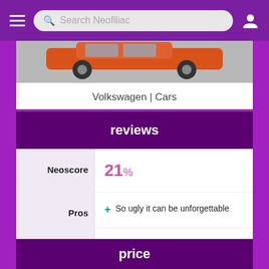Search Neofiliac
[Figure (photo): Partial view of a red/orange Volkswagen car from the side, showing the lower body and wheels]
Volkswagen | Cars
reviews
|  |  |
| --- | --- |
| Neoscore | 21% |
| Pros | + So ugly it can be unforgettable |
| Cons | - Slow and sluggish
- No powerful engine options
- High 0.37 drag coefficient
- No independent rear suspensions
- Low cargo capacity |
price